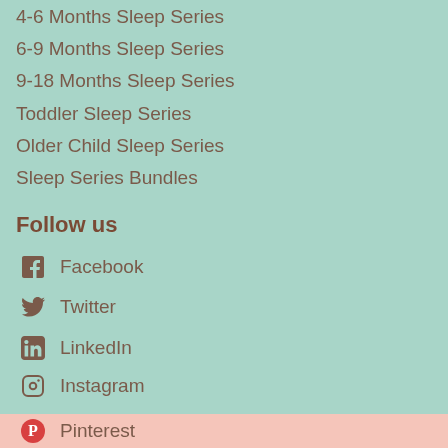4-6 Months Sleep Series
6-9 Months Sleep Series
9-18 Months Sleep Series
Toddler Sleep Series
Older Child Sleep Series
Sleep Series Bundles
Follow us
Facebook
Twitter
LinkedIn
Instagram
YouTube
Pinterest